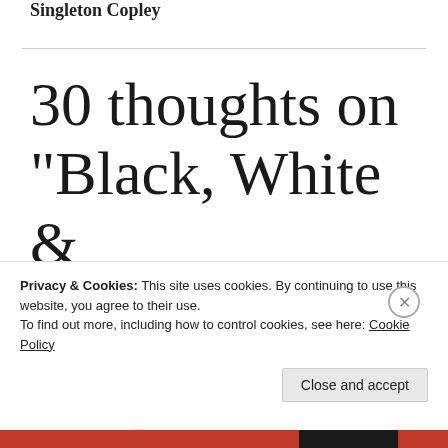Singleton Copley
30 thoughts on “Black, White & Silver for John Singleton Copley”
Privacy & Cookies: This site uses cookies. By continuing to use this website, you agree to their use.
To find out more, including how to control cookies, see here: Cookie Policy
Close and accept